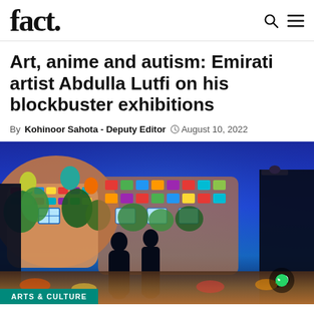fact.
Art, anime and autism: Emirati artist Abdulla Lutfi on his blockbuster exhibitions
By Kohinoor Sahota - Deputy Editor  August 10, 2022
[Figure (photo): Two silhouetted figures standing in front of a large colorful immersive projection of a mosaic-style building with lush greenery and blue sky, with an ARTS & CULTURE tag at the bottom left and a WhatsApp icon button at the bottom right.]